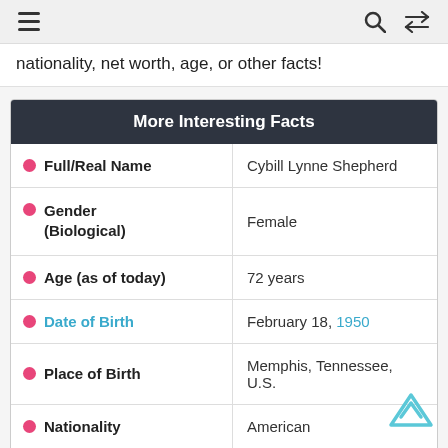≡  🔍  ⇌
nationality, net worth, age, or other facts!
| More Interesting Facts |  |
| --- | --- |
| Full/Real Name | Cybill Lynne Shepherd |
| Gender (Biological) | Female |
| Age (as of today) | 72 years |
| Date of Birth | February 18, 1950 |
| Place of Birth | Memphis, Tennessee, U.S. |
| Nationality | American |
| Height | 1.73 m, 5 feet 8 inches |